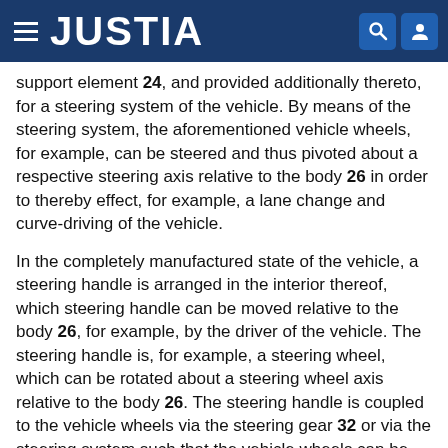JUSTIA
support element 24, and provided additionally thereto, for a steering system of the vehicle. By means of the steering system, the aforementioned vehicle wheels, for example, can be steered and thus pivoted about a respective steering axis relative to the body 26 in order to thereby effect, for example, a lane change and curve-driving of the vehicle.
In the completely manufactured state of the vehicle, a steering handle is arranged in the interior thereof, which steering handle can be moved relative to the body 26, for example, by the driver of the vehicle. The steering handle is, for example, a steering wheel, which can be rotated about a steering wheel axis relative to the body 26. The steering handle is coupled to the vehicle wheels via the steering gear 32 or via the steering system such that the vehicle wheels can be steered, via the steering